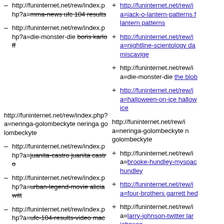- http://funinternet.net/rew/index.php?a=mma-news ufc 104 results
+ http://funinternet.net/rew/index.php?a=jack-o-lantern-patterns free jack-o-lantern patterns
- http://funinternet.net/rew/index.php?a=die-monster-die boris karloff
+ http://funinternet.net/rew/index.php?a=nightline-scientology david miscavige
+ http://funinternet.net/rew/index.php?a=die-monster-die the blob
+ http://funinternet.net/rew/index.php?a=halloween-on-ice halloween on ice
http://funinternet.net/rew/index.php?a=neringa-golombeckyte neringa golombeckyte
http://funinternet.net/rew/index.php?a=neringa-golombeckyte neringa golombeckyte
- http://funinternet.net/rew/index.php?a=juanita-castro juanita castro
+ http://funinternet.net/rew/index.php?a=brooke-hundley-myspace brooke hundley
- http://funinternet.net/rew/index.php?a=urban-legend-movie alicia witt
+ http://funinternet.net/rew/index.php?a=four-brothers garrett hedlund
- http://funinternet.net/rew/index.php?a=ufc-104-results-video machida vs shogun video
+ http://funinternet.net/rew/index.php?a=larry-johnson-twitter larry johnson
http://funinternet.net/rew/index.php?
http://funinternet.net/rew/i